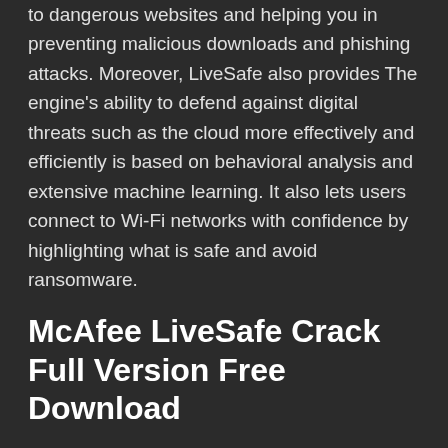to dangerous websites and helping you in preventing malicious downloads and phishing attacks. Moreover, LiveSafe also provides The engine's ability to defend against digital threats such as the cloud more effectively and efficiently is based on behavioral analysis and extensive machine learning. It also lets users connect to Wi-Fi networks with confidence by highlighting what is safe and avoid ransomware.
McAfee LiveSafe Crack Full Version Free Download
McAfee Mobile Security immediately terminates the vetting process ransomware and warns the user to delete the app. It also includes various security features, including device blocking and parental controls, managed via an intuitive mobile app with real-time notifications. McAfee